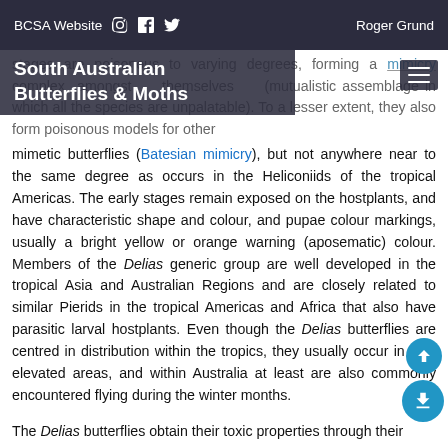BCSA Website   [instagram] [facebook] [twitter]   Roger Grund
South Australian Butterflies & Moths
stages are poisonous to varying degrees, forming a mimicry complex amongst themselves (mutualistic assemblage in which all the species are unpalatable). To a lesser extent, they also form poisonous models for other mimetic butterflies (Batesian mimicry), but not anywhere near to the same degree as occurs in the Heliconiids of the tropical Americas. The early stages remain exposed on the hostplants, and have characteristic shape and colour, and pupae colour markings, usually a bright yellow or orange warning (aposematic) colour. Members of the Delias generic group are well developed in the tropical Asia and Australian Regions and are closely related to similar Pierids in the tropical Americas and Africa that also have parasitic larval hostplants. Even though the Delias butterflies are centred in distribution within the tropics, they usually occur in cool elevated areas, and within Australia at least are also commonly encountered flying during the winter months.

The Delias butterflies obtain their toxic properties through their